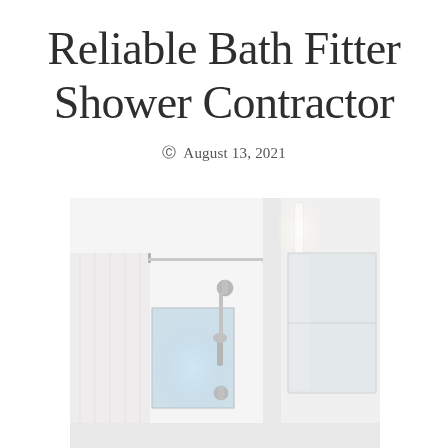Reliable Bath Fitter Shower Contractor
© August 13, 2021
[Figure (photo): A bright, modern bathroom interior showing a shower area with a chrome shower head and handheld sprayer, a frosted glass window, white shower curtain, and a large rectangular mirror on the wall with vanity lighting above it. The room is predominantly white and well-lit.]